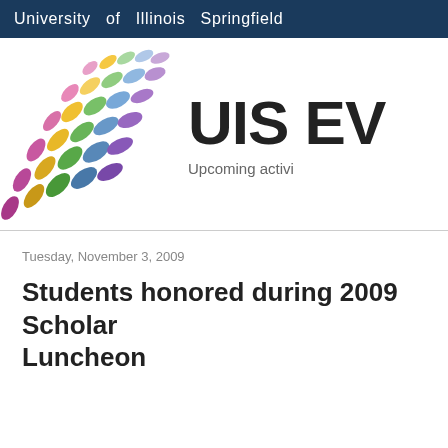University of Illinois Springfield
[Figure (logo): UIS decorative leaf/petal logo with colorful overlapping leaf shapes in pink, yellow, green, blue, and purple arranged in a fan pattern]
UIS EV
Upcoming activi
Tuesday, November 3, 2009
Students honored during 2009 Scholar Luncheon
Couldn't load plugin